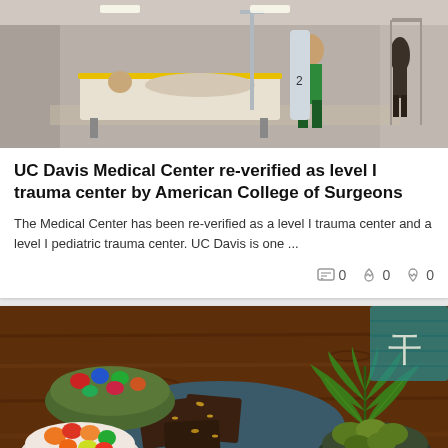[Figure (photo): Hospital corridor with a patient being transported on a gurney, medical staff visible in background hallway]
UC Davis Medical Center re-verified as level I trauma center by American College of Surgeons
The Medical Center has been re-verified as a level I trauma center and a level I pediatric trauma center. UC Davis is one ...
0  0  0
[Figure (photo): Cannabis edibles including gummy bears in a bowl, chocolate brownies on a plate, marijuana leaf, and cannabis buds in a bowl on wooden surface]